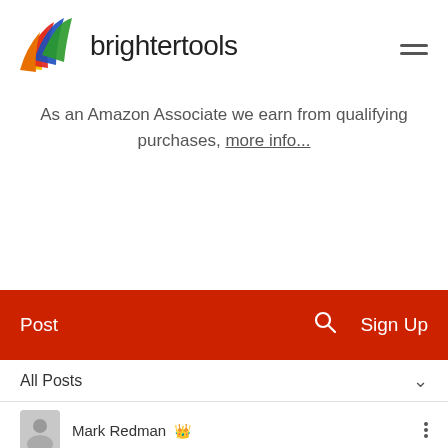[Figure (logo): Brighter Tools logo with colorful feather/flame icon above the text 'brightertools']
As an Amazon Associate we earn from qualifying purchases, more info...
Post   [search icon]   Sign Up
All Posts
Mark Redman [crown icon]